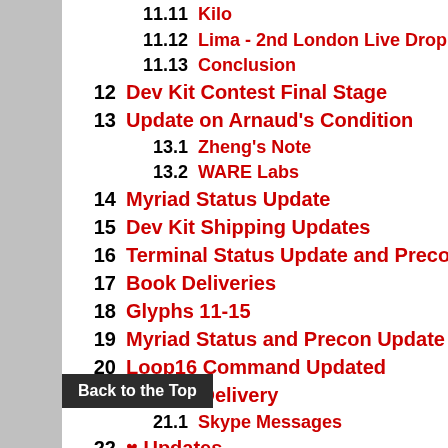11.11  Kilo
11.12  Lima - 2nd London Live Drop
11.13  Conclusion
12  Dev Kit Contest Final Stage
13  Update on Arnaud's Condition
13.1  Zheng's Note
13.2  WARE Labs
14  Myriad Status Update
15  Dev Kit Shipping Updates
16  Terminal Status Update and Precon007
17  Book Deliveries
18  Glyphs 11-15
19  Myriad Status and Precon Update
20  Loop16 Command Updated
21  Dev Kit Delivery
21.1  Skype Messages
22  [Updates]
22.1  Glyph Passwords
Back to the Top